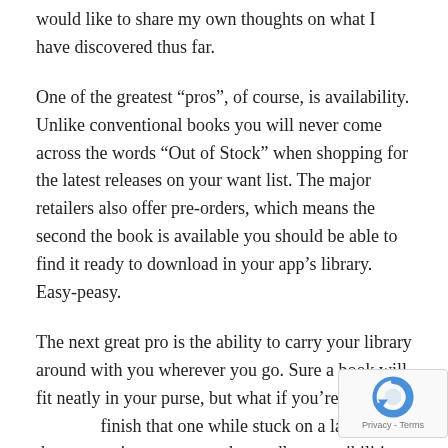would like to share my own thoughts on what I have discovered thus far.
One of the greatest “pros”, of course, is availability. Unlike conventional books you will never come across the words “Out of Stock” when shopping for the latest releases on your want list. The major retailers also offer pre-orders, which means the second the book is available you should be able to find it ready to download in your app’s library. Easy-peasy.
The next great pro is the ability to carry your library around with you wherever you go. Sure a book will fit neatly in your purse, but what if you’re on a trip and finish that one while stuck on a layover at the airport or any other endless possibilities for
[Figure (other): Google reCAPTCHA badge in the bottom-right corner showing the reCAPTCHA logo and Privacy - Terms text]